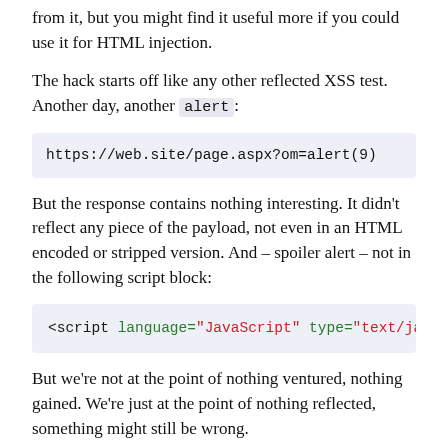from it, but you might find it useful more if you could use it for HTML injection.
The hack starts off like any other reflected XSS test. Another day, another alert:
https://web.site/page.aspx?om=alert(9)
But the response contains nothing interesting. It didn't reflect any piece of the payload, not even in an HTML encoded or stripped version. And – spoiler alert – not in the following script block:
<script language="JavaScript" type="text/java
But we're not at the point of nothing ventured, nothing gained. We're just at the point of nothing reflected, something might still be wrong.
So we poke around at some more links on the site. Just visiting them as any user might without injecting any new payloads, working under the assumption that the payload